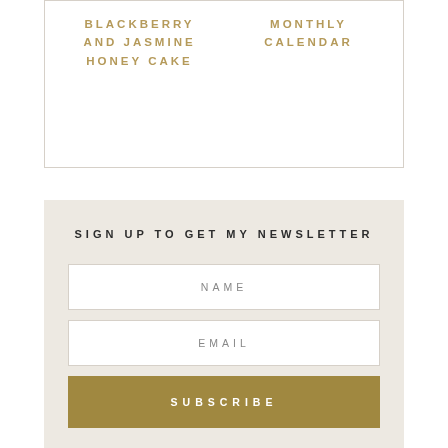BLACKBERRY AND JASMINE HONEY CAKE
MONTHLY CALENDAR
SIGN UP TO GET MY NEWSLETTER
NAME
EMAIL
SUBSCRIBE